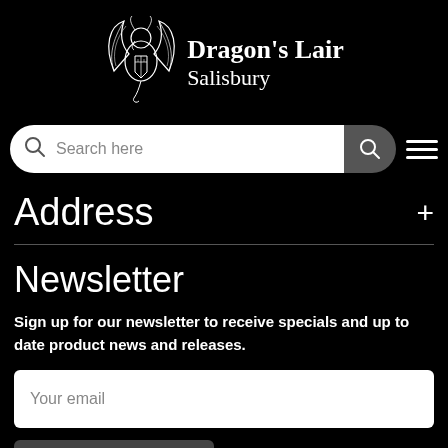[Figure (logo): Dragon's Lair Salisbury logo — a dragon with shield emblem and brand name text]
[Figure (screenshot): Search bar with placeholder text 'Search here', a search button on the right, and a hamburger menu icon]
Address
Newsletter
Sign up for our newsletter to receive specials and up to date product news and releases.
[Figure (screenshot): Email input field with placeholder text 'Your email']
[Figure (screenshot): Partially visible dark button at the bottom of the page]